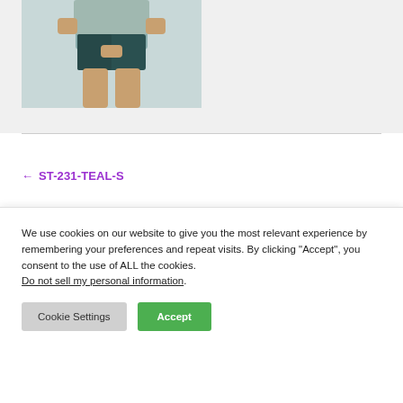[Figure (photo): Product photo of a person wearing dark teal athletic shorts and a grey t-shirt, cropped at torso/thigh level]
← ST-231-TEAL-S
We use cookies on our website to give you the most relevant experience by remembering your preferences and repeat visits. By clicking "Accept", you consent to the use of ALL the cookies. Do not sell my personal information.
Cookie Settings
Accept